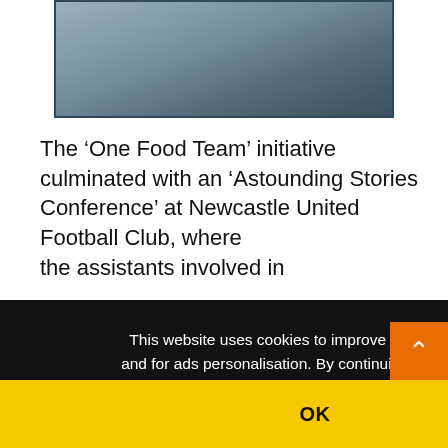[Figure (photo): Partial view of a photo showing hands, likely working at a desk or keyboard, with dark teal border framing.]
The ‘One Food Team’ initiative culminated with an ‘Astounding Stories Conference’ at Newcastle United Football Club, where the assistants involved in
s in
a 6
cant
This website uses cookies to improve your experience and for ads personalisation. By continuing to browse this site you are agreeing to our use of these cookies.
You can learn more about the cookies we use here.
OK
REGIS